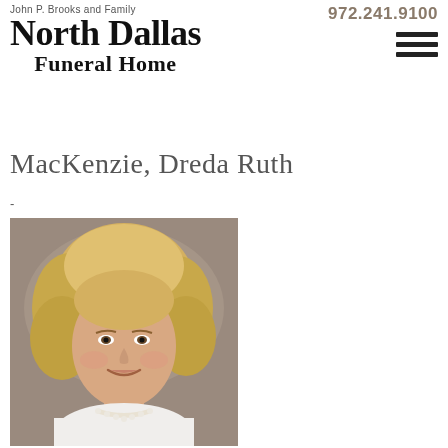John P. Brooks and Family
North Dallas
Funeral Home
972.241.9100
MacKenzie, Dreda Ruth
-
[Figure (photo): Portrait photo of Dreda Ruth MacKenzie, a woman with short blonde hair, smiling, wearing a white top and pearl necklace, photographed against a neutral background.]